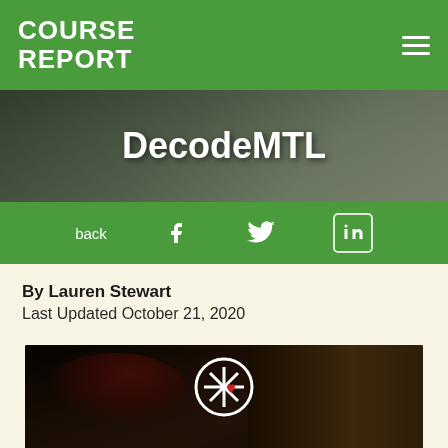COURSE REPORT
DecodeMTL
back
By Lauren Stewart
Last Updated October 21, 2020
[Figure (photo): A person wearing red headphones studying at a desk in a library, with the DecodeMTL logo and text 'THE NEW REMOTE BOOTCAMP' overlaid on the image.]